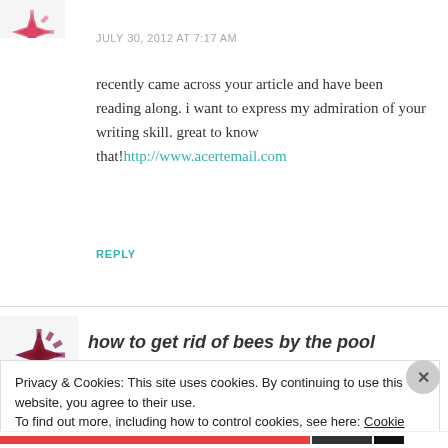[Figure (illustration): Decorative snowflake/geometric avatar in red/pink tones, partially cropped at top-left]
JULY 30, 2012 AT 7:17 AM
recently came across your article and have been reading along. i want to express my admiration of your writing skill. great to know that!http://www.acertemail.com
REPLY
[Figure (illustration): Decorative snowflake/geometric avatar in dark red/maroon tones]
how to get rid of bees by the pool
Privacy & Cookies: This site uses cookies. By continuing to use this website, you agree to their use.
To find out more, including how to control cookies, see here: Cookie Policy
Close and accept